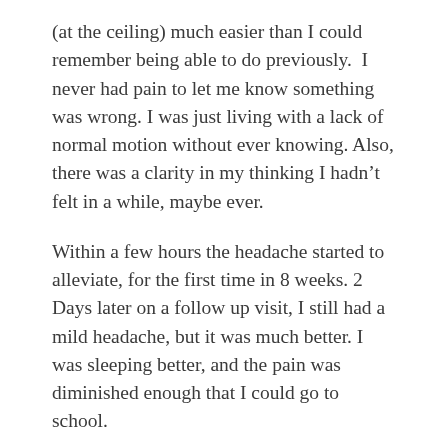(at the ceiling) much easier than I could remember being able to do previously.  I never had pain to let me know something was wrong. I was just living with a lack of normal motion without ever knowing. Also, there was a clarity in my thinking I hadn't felt in a while, maybe ever.
Within a few hours the headache started to alleviate, for the first time in 8 weeks. 2 Days later on a follow up visit, I still had a mild headache, but it was much better. I was sleeping better, and the pain was diminished enough that I could go to school.
After the initial improvement in my pain, I began to notice that my health was improving in many areas, I had more energy, paid attention better in school and began to exercise more frequently. Chiropractic has helped me reach more of my potential in many areas of